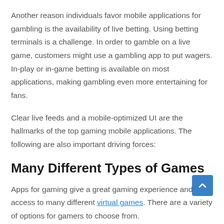Another reason individuals favor mobile applications for gambling is the availability of live betting. Using betting terminals is a challenge. In order to gamble on a live game, customers might use a gambling app to put wagers. In-play or in-game betting is available on most applications, making gambling even more entertaining for fans.
Clear live feeds and a mobile-optimized UI are the hallmarks of the top gaming mobile applications. The following are also important driving forces:
Many Different Types of Games
Apps for gaming give a great gaming experience and easy access to many different virtual games. There are a variety of options for gamers to choose from.
Accessible 365 Days a Year